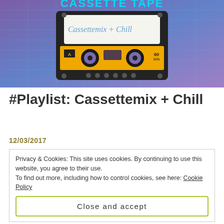[Figure (illustration): A retro-style cassette tape illustration labeled 'Cassettemix + Chill', side A, 60 min, on a purple/blue gradient background with grid lines. The cassette is black with a yellow/orange tape area and the text written in cursive on the white label.]
#Playlist: Cassettemix + Chill
12/03/2017
Privacy & Cookies: This site uses cookies. By continuing to use this website, you agree to their use.
To find out more, including how to control cookies, see here: Cookie Policy
Close and accept